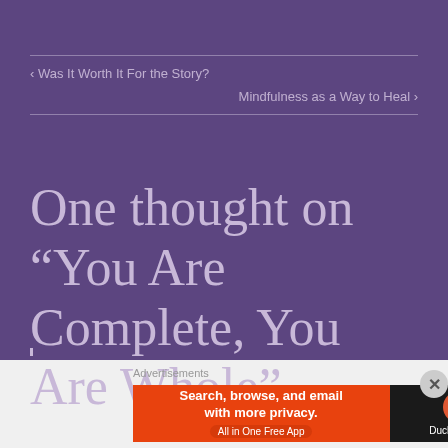‹ Was It Worth It For the Story?
Mindfulness as a Way to Heal ›
One thought on “You Are Complete, You Are Whole”
Advertisements
[Figure (screenshot): DuckDuckGo advertisement banner: 'Search, browse, and email with more privacy. All in One Free App' with DuckDuckGo logo on dark background]